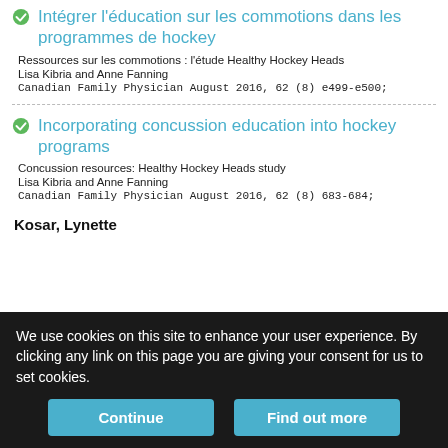Intégrer l'éducation sur les commotions dans les programmes de hockey
Ressources sur les commotions : l'étude Healthy Hockey Heads
Lisa Kibria and Anne Fanning
Canadian Family Physician August 2016, 62 (8) e499-e500;
Incorporating concussion education into hockey programs
Concussion resources: Healthy Hockey Heads study
Lisa Kibria and Anne Fanning
Canadian Family Physician August 2016, 62 (8) 683-684;
Kosar, Lynette
We use cookies on this site to enhance your user experience. By clicking any link on this page you are giving your consent for us to set cookies.
Continue
Find out more